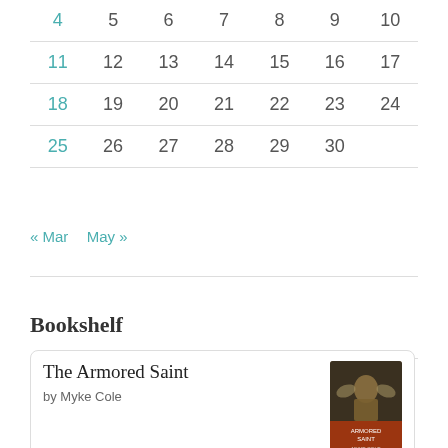| 4 | 5 | 6 | 7 | 8 | 9 | 10 |
| 11 | 12 | 13 | 14 | 15 | 16 | 17 |
| 18 | 19 | 20 | 21 | 22 | 23 | 24 |
| 25 | 26 | 27 | 28 | 29 | 30 |  |
« Mar   May »
Bookshelf
The Armored Saint
by Myke Cole